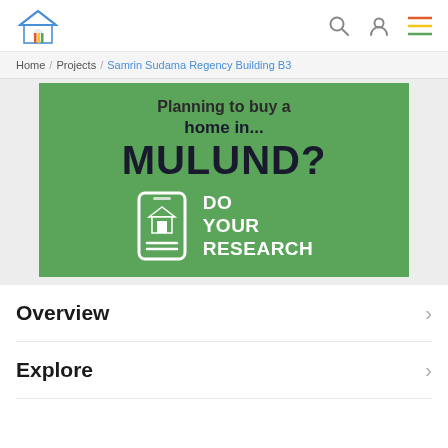Logo | Search | User | Menu
Home / Projects / Samrin Sudama Regency Building B3
[Figure (illustration): Green promotional banner for Mulund real estate with text: 'Thinking to buy a home in... MULUND? DO YOUR RESEARCH' with a smartphone icon showing a house]
Overview
Explore